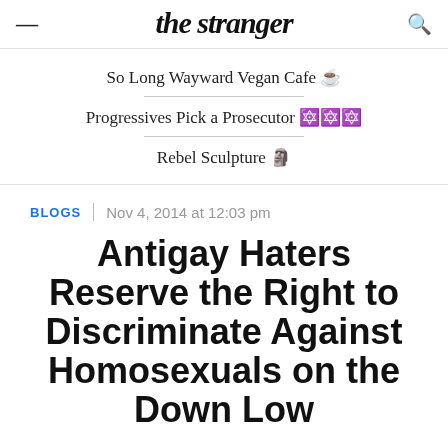the stranger
So Long Wayward Vegan Cafe ☕
Progressives Pick a Prosecutor 🗳🗳🗳
Rebel Sculpture 🗿
BLOGS | Nov 4, 2014 at 12:03 pm
Antigay Haters Reserve the Right to Discriminate Against Homosexuals on the Down Low